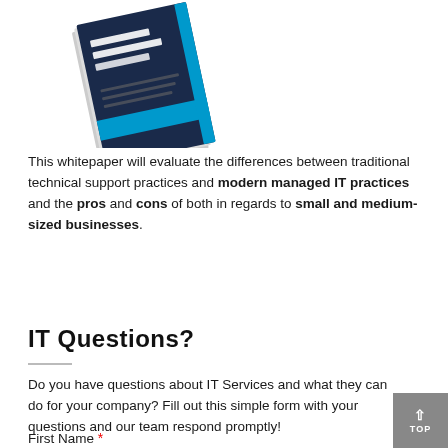[Figure (photo): A tilted booklet/whitepaper titled '10 Benefits of Managed IT Services' with a dark blue and white cover design.]
This whitepaper will evaluate the differences between traditional technical support practices and modern managed IT practices and the pros and cons of both in regards to small and medium-sized businesses.
[Figure (other): Download! button in cyan/blue color]
IT Questions?
Do you have questions about IT Services and what they can do for your company? Fill out this simple form with your questions and our team respond promptly!
First Name *